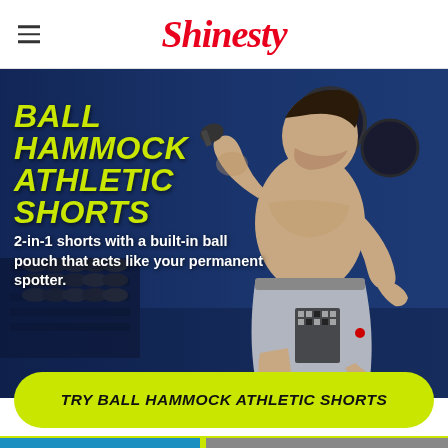Shinesty
[Figure (photo): A shirtless muscular man lifting dumbbells in a gym with blue walls, wearing gray athletic shorts with a geometric pattern. Background shows a rack of weights.]
BALL HAMMOCK ATHLETIC SHORTS
2-in-1 shorts with a built-in ball pouch that acts like your permanent spotter.
[Figure (other): Call-to-action button with lime green background and bold italic text: TRY BALL HAMMOCK ATHLETIC SHORTS]
[Figure (photo): Bottom strip showing partial images from other product sections]